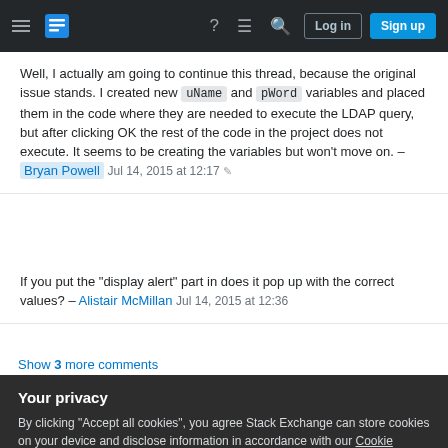Stack Exchange navigation bar with hamburger menu, logo, help, chat, search icons, Log in and Sign up buttons
Well, I actually am going to continue this thread, because the original issue stands. I created new uName and pWord variables and placed them in the code where they are needed to execute the LDAP query, but after clicking OK the rest of the code in the project does not execute. It seems to be creating the variables but won't move on. – Bryan Powell Jul 14, 2015 at 12:17
If you put the "display alert" part in does it pop up with the correct values? – Alistair McMillan Jul 14, 2015 at 12:36
Show 3 more comments
Your privacy
By clicking "Accept all cookies", you agree Stack Exchange can store cookies on your device and disclose information in accordance with our Cookie Policy.
Accept all cookies
Customize settings
The Overflow Blog